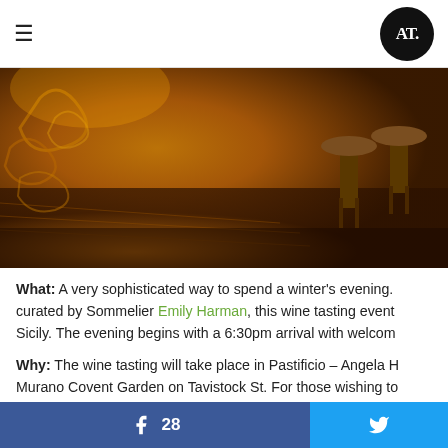≡  AT logo
[Figure (photo): Warm amber-lit interior of a restaurant or wine bar showing wooden floors, decorative painted elements, and bar stools in the background]
What: A very sophisticated way to spend a winter's evening. curated by Sommelier Emily Harman, this wine tasting event Sicily. The evening begins with a 6:30pm arrival with welcom
Why: The wine tasting will take place in Pastificio – Angela H Murano Covent Garden on Tavistock St. For those wishing to taken next door with no corkage charge. If you are peckish at away a tray of fresh pasta, a homemade sauce and a bottle o
Details: Tuesday 24th November, 18.30 – 20.00
[Figure (infographic): Facebook share button with count 28 and Twitter share button]